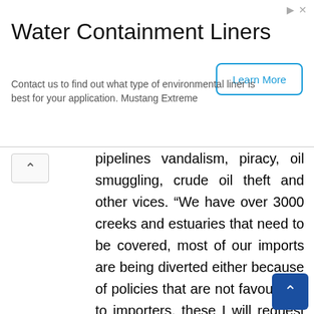[Figure (other): Advertisement banner for Water Containment Liners with a 'Learn More' button]
pipelines vandalism, piracy, oil smuggling, crude oil theft and other vices. “We have over 3000 creeks and estuaries that need to be covered, most of our imports are being diverted either because of policies that are not favourable to importers, these I will request that you look at so as to encourage imports to be directed to Nigeria so that the necessary revenues that we are missing will be able to come back to us,” he said. As a result, the CNS harped on the need to strengthen the agencies intelligence sharing, saying that “Navy cannot be in all the creeks at all the times, and want to